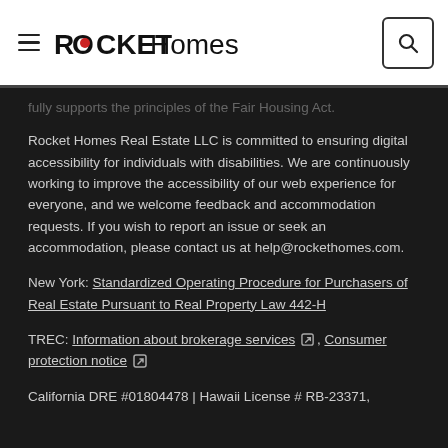ROCKET Homes
fully supports the principles of the Fair Housing Act.
Rocket Homes Real Estate LLC is committed to ensuring digital accessibility for individuals with disabilities. We are continuously working to improve the accessibility of our web experience for everyone, and we welcome feedback and accommodation requests. If you wish to report an issue or seek an accommodation, please contact us at help@rockethomes.com.
New York: Standardized Operating Procedure for Purchasers of Real Estate Pursuant to Real Property Law 442-H
TREC: Information about brokerage services, Consumer protection notice
California DRE #01804478 | Hawaii License # RB-23371,